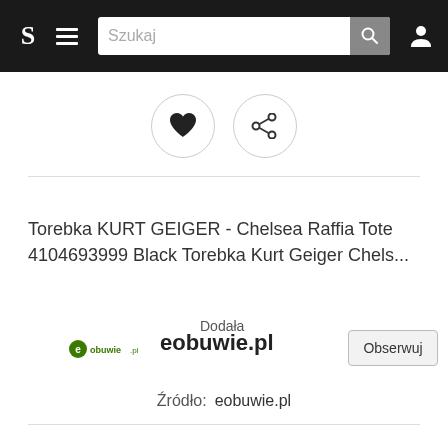S  ☰  Szukaj  🔍  👤
[Figure (screenshot): Heart (favourite) and share circle icon buttons]
Torebka KURT GEIGER - Chelsea Raffia Tote 4104693999 Black Torebka Kurt Geiger Chels...
Dodała
[Figure (logo): eobuwie.pl green logo]
eobuwie.pl  Obserwuj
Źródło:  eobuwie.pl